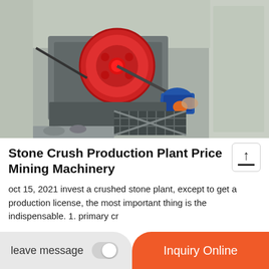[Figure (photo): Industrial stone crushing machine (jaw crusher) with red flywheel, blue electric motor, mounted in a concrete structure. Viewed from above/side angle.]
Stone Crush Production Plant Price Mining Machinery
oct 15, 2021 invest a crushed stone plant, except to get a production license, the most important thing is the
indispensable. 1. primary cr